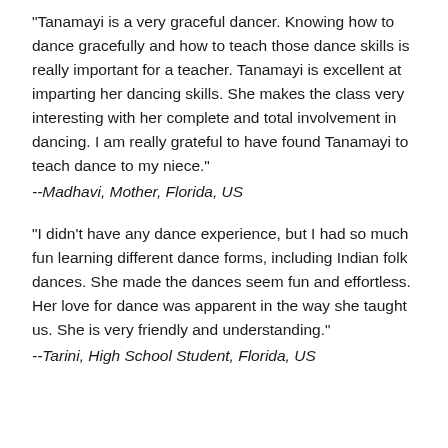"Tanamayi is a very graceful dancer. Knowing how to dance gracefully and how to teach those dance skills is really important for a teacher. Tanamayi is excellent at imparting her dancing skills. She makes the class very interesting with her complete and total involvement in dancing. I am really grateful to have found Tanamayi to teach dance to my niece."
--Madhavi, Mother, Florida, US
"I didn't have any dance experience, but I had so much fun learning different dance forms, including Indian folk dances. She made the dances seem fun and effortless. Her love for dance was apparent in the way she taught us. She is very friendly and understanding."
--Tarini, High School Student, Florida, US